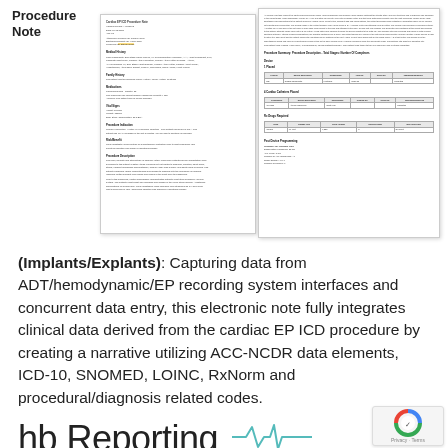Procedure Note
[Figure (illustration): Two overlapping document pages showing a Cardiac EP ICD Procedure Note with patient information, medical history, procedure details, and tables with device/procedure data.]
(Implants/Explants): Capturing data from ADT/hemodynamic/EP recording system interfaces and concurrent data entry, this electronic note fully integrates clinical data derived from the cardiac EP ICD procedure by creating a narrative utilizing ACC-NCDR data elements, ICD-10, SNOMED, LOINC, RxNorm and procedural/diagnosis related codes.
hb Reporting